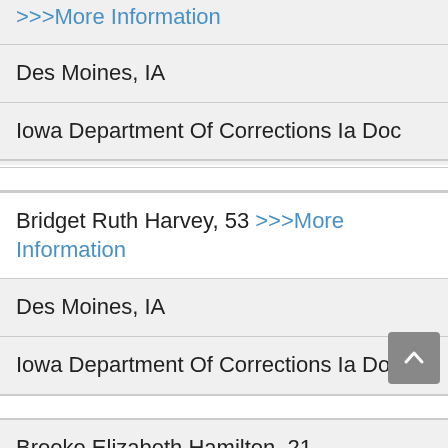>>>More Information
Des Moines, IA
Iowa Department Of Corrections Ia Doc
Bridget Ruth Harvey, 53 >>>More Information
Des Moines, IA
Iowa Department Of Corrections Ia Doc
Brooke Elizabeth Hamilton, 21 >>>More Information
Des Moines, IA
Iowa Department Of Corrections Ia Doc